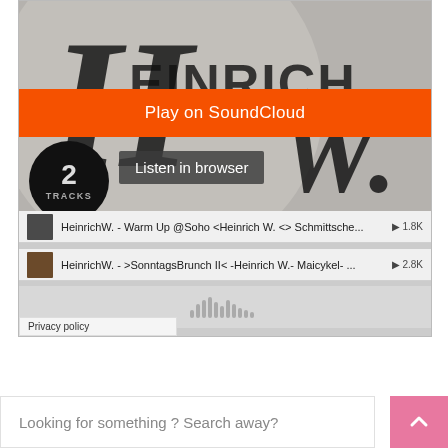[Figure (screenshot): SoundCloud embedded widget showing Heinrich W. artist profile with circular logo artwork, orange Play on SoundCloud button, Listen in browser button, 2 TRACKS count bubble, and two track listings: 'HeinrichW. - Warm Up @Soho <Heinrich W. <> Schmittsche...' with 1.8K plays and 'HeinrichW. - >SonntagsBrunch II< -Heinrich W.- Maicykel- ...' with 2.8K plays, SoundCloud logo, and Privacy policy label]
Looking for something ? Search away?